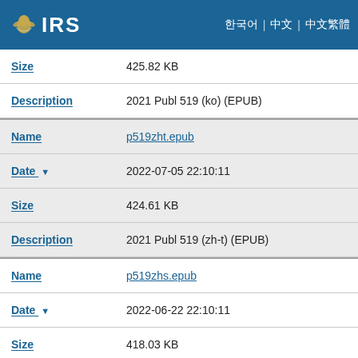IRS
| Field | Value |
| --- | --- |
| Size | 425.82 KB |
| Description | 2021 Publ 519 (ko) (EPUB) |
| Name | p519zht.epub |
| Date | 2022-07-05 22:10:11 |
| Size | 424.61 KB |
| Description | 2021 Publ 519 (zh-t) (EPUB) |
| Name | p519zhs.epub |
| Date | 2022-06-22 22:10:11 |
| Size | 418.03 KB |
| Description | 2021 Publ 519 (zh-s) (EPUB) |